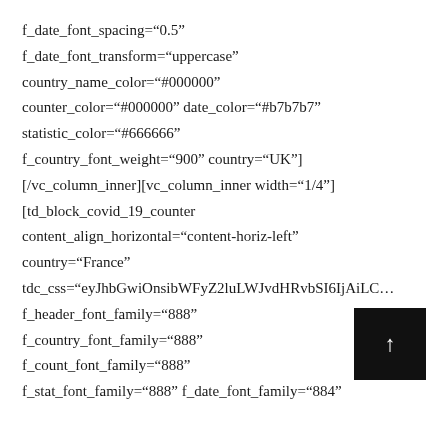f_date_font_spacing="0.5"
f_date_font_transform="uppercase"
country_name_color="#000000"
counter_color="#000000" date_color="#b7b7b7"
statistic_color="#666666"
f_country_font_weight="900" country="UK"]
[/vc_column_inner][vc_column_inner width="1/4"]
[td_block_covid_19_counter
content_align_horizontal="content-horiz-left"
country="France"
tdc_css="eyJhbGwiOnsibWFyZ2luLWJvdHRvbSI6IjAiLC...
f_header_font_family="888"
f_country_font_family="888"
f_count_font_family="888"
f_stat_font_family="888" f_date_font_family="884"
[Figure (other): Black square button with upward arrow (scroll to top button)]